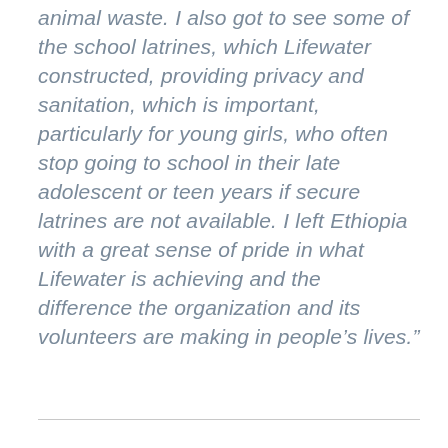animal waste. I also got to see some of the school latrines, which Lifewater constructed, providing privacy and sanitation, which is important, particularly for young girls, who often stop going to school in their late adolescent or teen years if secure latrines are not available. I left Ethiopia with a great sense of pride in what Lifewater is achieving and the difference the organization and its volunteers are making in people's lives.”